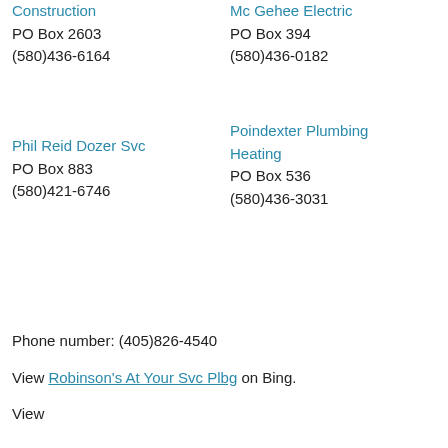Construction
PO Box 2603
(580)436-6164
Mc Gehee Electric
PO Box 394
(580)436-0182
Phil Reid Dozer Svc
PO Box 883
(580)421-6746
Poindexter Plumbing Heating
PO Box 536
(580)436-3031
Phone number: (405)826-4540
View Robinson's At Your Svc Plbg on Bing.
View